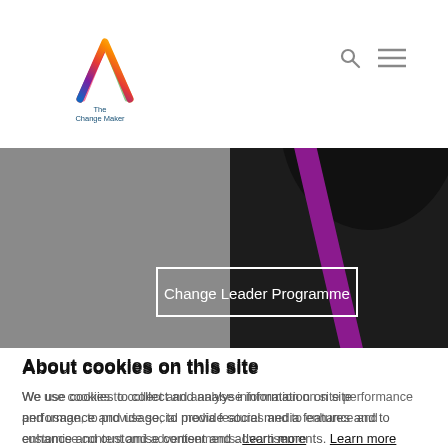[Figure (logo): The Change Maker Group logo — colorful triangle arrow (rainbow gradient) above text 'The Change Maker Group']
[Figure (photo): Hero banner area: grey background on left, dark photo of person on right with purple diagonal ribbon/stripe, containing a white-bordered text box reading 'Change Leader Programme']
About cookies on this site
We use cookies to collect and analyse information on site performance and usage, to provide social media features and to enhance and customise content and advertisements. Learn more
ALLOW ALL COOKIES
COOKIE SETTINGS